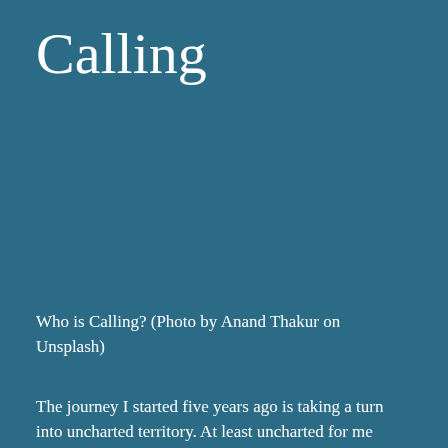Calling
Who is Calling? (Photo by Anand Thakur on Unsplash)
The journey I started five years ago is taking a turn into uncharted territory. At least uncharted for me